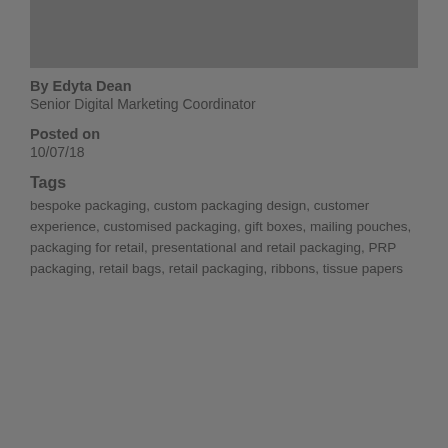[Figure (photo): Partial image visible at top of page, dark gray/brown background]
By Edyta Dean
Senior Digital Marketing Coordinator
Posted on
10/07/18
Tags
bespoke packaging, custom packaging design, customer experience, customised packaging, gift boxes, mailing pouches, packaging for retail, presentational and retail packaging, PRP packaging, retail bags, retail packaging, ribbons, tissue papers